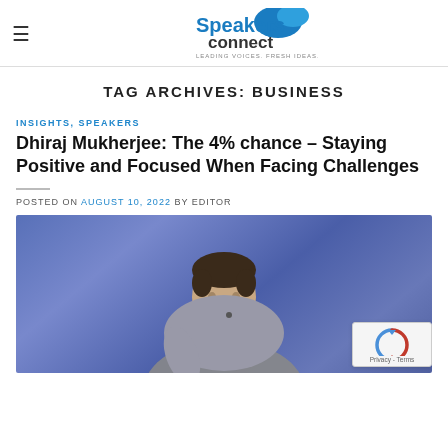Speakers Connect — LEADING VOICES. FRESH IDEAS.
TAG ARCHIVES: BUSINESS
INSIGHTS, SPEAKERS
Dhiraj Mukherjee: The 4% chance – Staying Positive and Focused When Facing Challenges
POSTED ON AUGUST 10, 2022 BY EDITOR
[Figure (photo): Man speaking on stage in front of a blue/purple background, wearing a grey shirt and microphone headset, gesturing with one hand.]